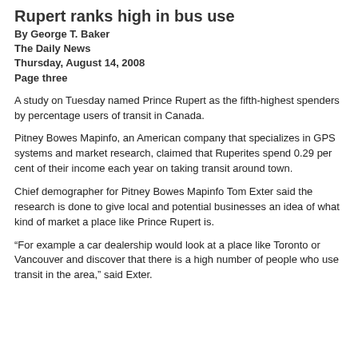Rupert ranks high in bus use
By George T. Baker
The Daily News
Thursday, August 14, 2008
Page three
A study on Tuesday named Prince Rupert as the fifth-highest spenders by percentage users of transit in Canada.
Pitney Bowes Mapinfo, an American company that specializes in GPS systems and market research, claimed that Ruperites spend 0.29 per cent of their income each year on taking transit around town.
Chief demographer for Pitney Bowes Mapinfo Tom Exter said the research is done to give local and potential businesses an idea of what kind of market a place like Prince Rupert is.
“For example a car dealership would look at a place like Toronto or Vancouver and discover that there is a high number of people who use transit in the area,” said Exter.